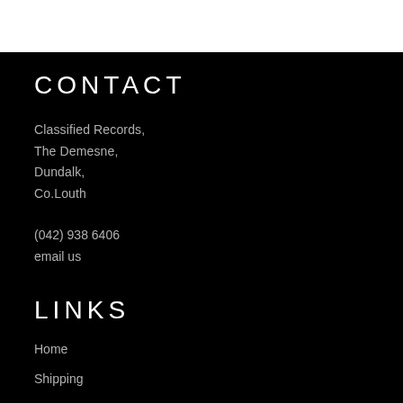CONTACT
Classified Records,
The Demesne,
Dundalk,
Co.Louth
(042) 938 6406
email us
LINKS
Home
Shipping
Returns